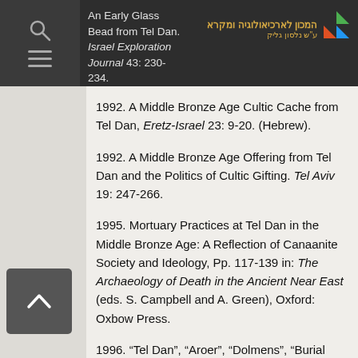An Early Glass Bead from Tel Dan. Israel Exploration Journal 43: 230-234.
1992. A Middle Bronze Age Cultic Cache from Tel Dan, Eretz-Israel 23: 9-20. (Hebrew).
1992. A Middle Bronze Age Offering from Tel Dan and the Politics of Cultic Gifting. Tel Aviv 19: 247-266.
1995. Mortuary Practices at Tel Dan in the Middle Bronze Age: A Reflection of Canaanite Society and Ideology, Pp. 117-139 in: The Archaeology of Death in the Ancient Near East (eds. S. Campbell and A. Green), Oxford: Oxbow Press.
1996. “Tel Dan”, “Aroer”, “Dolmens”, “Burial Goods”, “Tumuli” in: The...